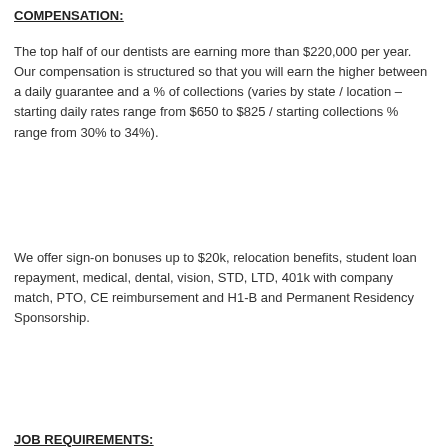COMPENSATION:
The top half of our dentists are earning more than $220,000 per year.  Our compensation is structured so that you will earn the higher between a daily guarantee and a % of collections (varies by state / location – starting daily rates range from $650 to $825 / starting collections % range from 30% to 34%).
We offer sign-on bonuses up to $20k, relocation benefits, student loan repayment, medical, dental, vision, STD, LTD, 401k with company match, PTO, CE reimbursement and H1-B and Permanent Residency Sponsorship.
JOB REQUIREMENTS: